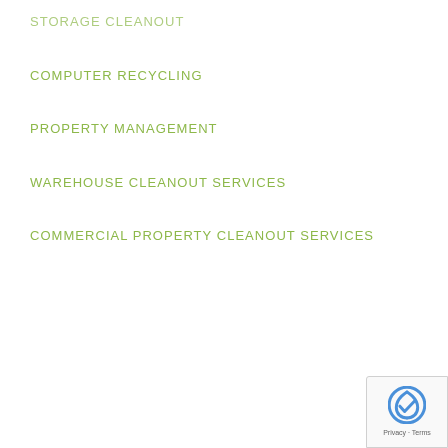STORAGE CLEANOUT
COMPUTER RECYCLING
PROPERTY MANAGEMENT
WAREHOUSE CLEANOUT SERVICES
COMMERCIAL PROPERTY CLEANOUT SERVICES